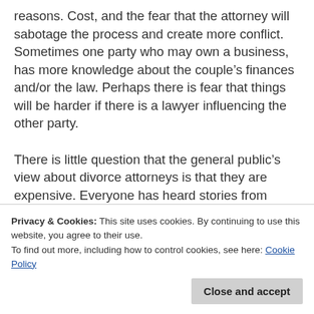reasons.  Cost, and the fear that the attorney will sabotage the process and create more conflict.  Sometimes one party who may own a business, has more knowledge about the couple's finances and/or the law.  Perhaps there is fear that things will be harder if there is a lawyer influencing the other party.
There is little question that the general public's view about divorce attorneys is that they are expensive.  Everyone has heard stories from friends, family or co-workers who have spent tens of thousands of dollars for their divorce.  Stories abound of long term involvement in the divorce process.   Often folks feel that they did not get a good resolution.  They believe that they "lost."
Even mediators clients who initially don't want to see a consulting attorney, will agree to have an attorney review a draft Marital Settlement Agreement (MSA) at the end of the process.  This is better than things as there are some very good reasons to seek a mediation
Privacy & Cookies: This site uses cookies. By continuing to use this website, you agree to their use.
To find out more, including how to control cookies, see here: Cookie Policy